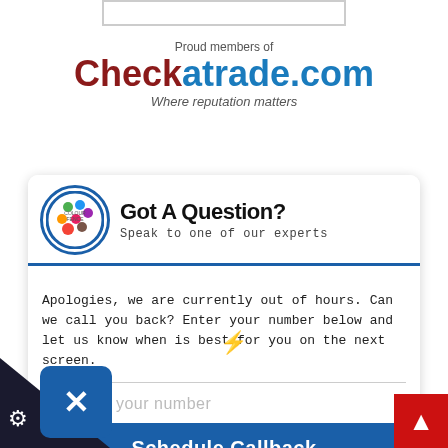[Figure (other): Top input box (partial, cropped at top)]
Proud members of
[Figure (logo): Checkatrade.com logo with tagline 'Where reputation matters']
[Figure (other): Got A Question? chat widget with Colour Fence logo, message about out of hours callback, phone number input, and Schedule Callback button]
[Figure (other): Bottom left dark triangle with close button (X) and gear icon]
[Figure (other): Lightning bolt icon]
[Figure (other): Red scroll-to-top arrow button bottom right]